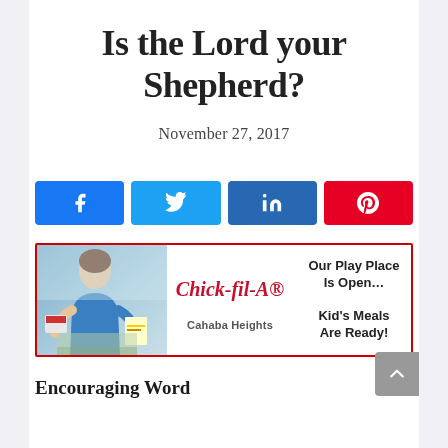Is the Lord your Shepherd?
November 27, 2017
[Figure (infographic): Social sharing buttons: Facebook (blue), Twitter (light blue), LinkedIn (dark blue), Pinterest (red) with respective icons]
[Figure (photo): Chick-fil-A Cahaba Heights advertisement banner with red border. Shows a smiling woman in blue shirt holding papers, Chick-fil-A logo with 'Cahaba Heights' text, and text reading 'Our Play Place Is Open... Kid's Meals Are Ready!']
Encouraging Word